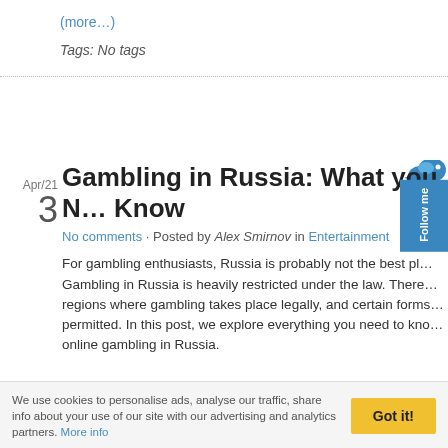(more…)
Tags: No tags
Apr/21  3
Gambling in Russia: What you Need to Know
No comments · Posted by Alex Smirnov in Entertainment
For gambling enthusiasts, Russia is probably not the best place. Gambling in Russia is heavily restricted under the law. There are regions where gambling takes place legally, and certain forms are permitted. In this post, we explore everything you need to know about online gambling in Russia.
We use cookies to personalise ads, analyse our traffic, share info about your use of our site with our advertising and analytics partners. More info